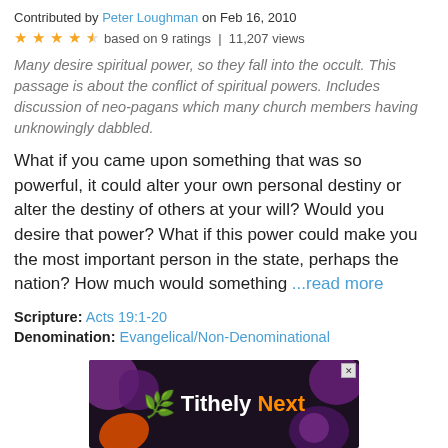Contributed by Peter Loughman on Feb 16, 2010
★★★★½ based on 9 ratings | 11,207 views
Many desire spiritual power, so they fall into the occult. This passage is about the conflict of spiritual powers. Includes discussion of neo-pagans which many church members having unknowingly dabbled.
What if you came upon something that was so powerful, it could alter your own personal destiny or alter the destiny of others at your will? Would you desire that power? What if this power could make you the most important person in the state, perhaps the nation? How much would something ...read more
Scripture: Acts 19:1-20
Denomination: Evangelical/Non-Denominational
1  Next »
[Figure (screenshot): Tithely Next advertisement banner with dark background, colorful blob shapes, green leaf logo, and white/orange text]